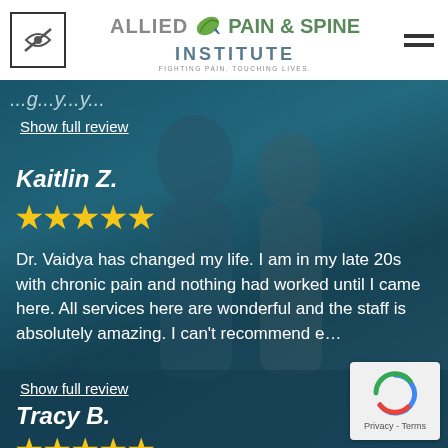[Figure (logo): Allied Pain & Spine Institute logo with tagline FIGHTING PAIN TOUCHING LIVES]
[Figure (photo): Background photo of a happy couple outdoors near water, used as background for patient reviews section]
Show full review
Kaitlin Z.
★★★★★
Dr. Vaidya has changed my life. I am in my late 20s with chronic pain and nothing had worked until I came here. All services here are wonderful and the staff is absolutely amazing. I can't recommend e…
Show full review
Tracy B.
★★★★★
[Figure (other): reCAPTCHA widget with Privacy and Terms text]